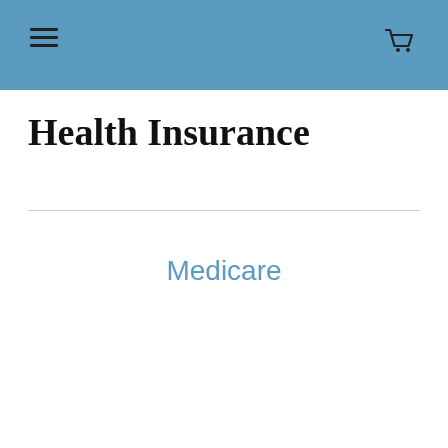Health Insurance — navigation header with menu and cart icons
Health Insurance
Medicare